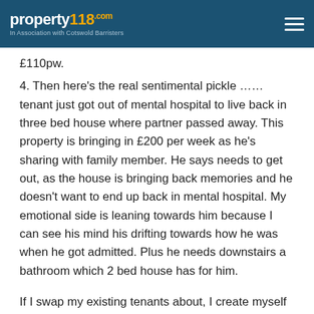property118 .com In Association with Cotswold Barristers
£110pw.
4. Then here's the real sentimental pickle …… tenant just got out of mental hospital to live back in three bed house where partner passed away. This property is bringing in £200 per week as he's sharing with family member. He says needs to get out, as the house is bringing back memories and he doesn't want to end up back in mental hospital. My emotional side is leaning towards him because I can see his mind his drifting towards how he was when he got admitted. Plus he needs downstairs a bathroom which 2 bed house has for him.
If I swap my existing tenants about, I create myself loads more paperwork, as I do Housing Benefit (HB) forms for them, but hopefully if I make the right